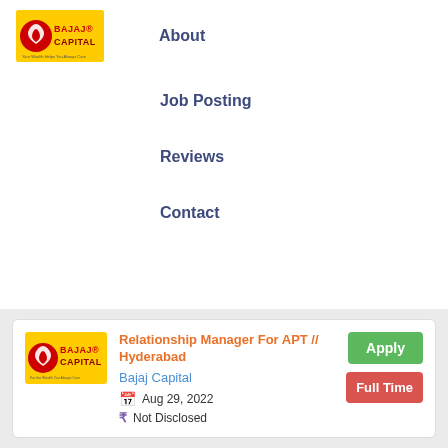[Figure (logo): Bajaj Capital logo — yellow background with red circular emblem and red/dark-red text 'BAJAJ CAPITAL']
About
Job Posting
Reviews
Contact
[Figure (logo): Bajaj Capital logo small — yellow background with red circular emblem and red/dark-red text 'BAJAJ CAPITAL']
Relationship Manager For APT // Hyderabad
Bajaj Capital
Aug 29, 2022
Not Disclosed
Apply
Full Time